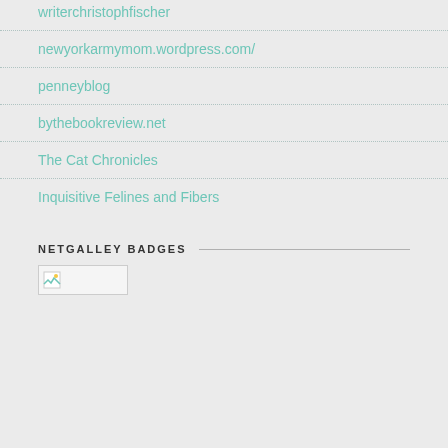writerchristophfischer
newyorkarmymom.wordpress.com/
penneyblog
bythebookreview.net
The Cat Chronicles
Inquisitive Felines and Fibers
NETGALLEY BADGES
[Figure (other): A broken/placeholder image icon representing a NetGalley badge]